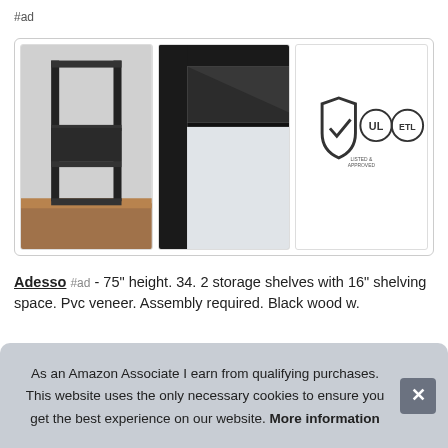#ad
[Figure (photo): Three product images: a tall black shelf unit on wood floor, a close-up of the shelf corner/frame detail, and a certification badge panel with shield checkmark and UL/ETL logos with text about lighting safety standards.]
Adesso #ad - 75" height. 34. 2 storage shelves with 16" shelving space. Pvc veneer. Assembly required. Black wood w.
As an Amazon Associate I earn from qualifying purchases. This website uses the only necessary cookies to ensure you get the best experience on our website. More information